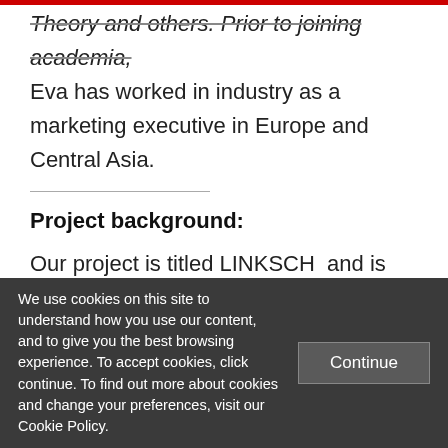Theory and others. Prior to joining academia, Eva has worked in industry as a marketing executive in Europe and Central Asia.
Project background:
Our project is titled LINKSCH  and is funded by the European Commission (For more information on the project, please visit the project website, http://linksch.gla.ac.uk/
We use cookies on this site to understand how you use our content, and to give you the best browsing experience. To accept cookies, click continue. To find out more about cookies and change your preferences, visit our Cookie Policy.